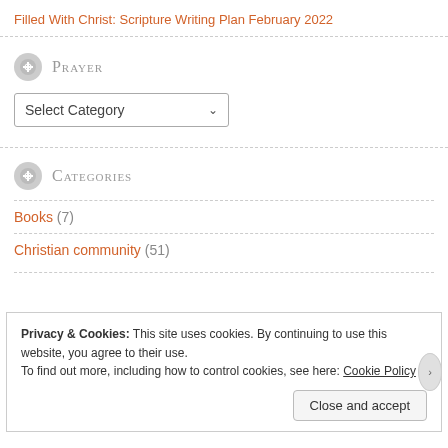Filled With Christ: Scripture Writing Plan February 2022
Prayer
[Figure (screenshot): Dropdown select box labeled 'Select Category' with a downward chevron arrow]
Categories
Books (7)
Christian community (51)
Privacy & Cookies: This site uses cookies. By continuing to use this website, you agree to their use.
To find out more, including how to control cookies, see here: Cookie Policy
Close and accept